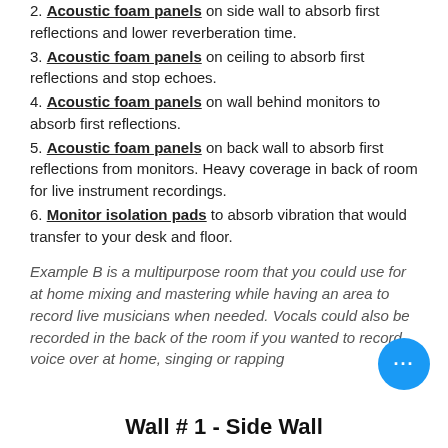2. Acoustic foam panels on side wall to absorb first reflections and lower reverberation time.
3. Acoustic foam panels on ceiling to absorb first reflections and stop echoes.
4. Acoustic foam panels on wall behind monitors to absorb first reflections.
5. Acoustic foam panels on back wall to absorb first reflections from monitors. Heavy coverage in back of room for live instrument recordings.
6. Monitor isolation pads to absorb vibration that would transfer to your desk and floor.
Example B is a multipurpose room that you could use for at home mixing and mastering while having an area to record live musicians when needed. Vocals could also be recorded in the back of the room if you wanted to record voice over at home, singing or rapping
Wall # 1 - Side Wall